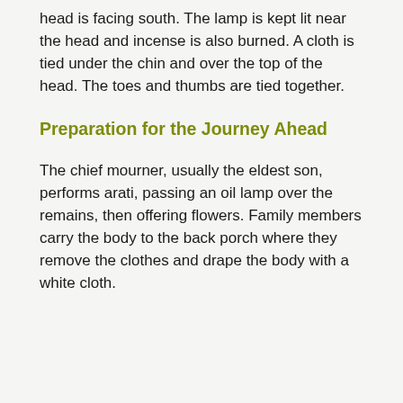head is facing south. The lamp is kept lit near the head and incense is also burned. A cloth is tied under the chin and over the top of the head. The toes and thumbs are tied together.
Preparation for the Journey Ahead
The chief mourner, usually the eldest son, performs arati, passing an oil lamp over the remains, then offering flowers. Family members carry the body to the back porch where they remove the clothes and drape the body with a white cloth.